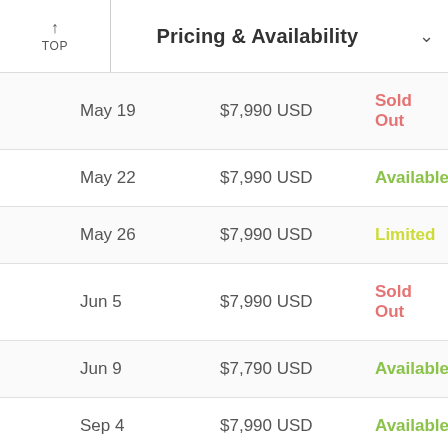Pricing & Availability
| Date | Price | Availability |
| --- | --- | --- |
| May 19 | $7,990 USD | Sold Out |
| May 22 | $7,990 USD | Available |
| May 26 | $7,990 USD | Limited |
| Jun 5 | $7,990 USD | Sold Out |
| Jun 9 | $7,790 USD | Available |
| Sep 4 | $7,990 USD | Available |
| Sep 15 | $7,990 USD | Available |
| Sep 22 | $7,990 USD | Available |
| Sep 25 | $7,990 USD | Available |